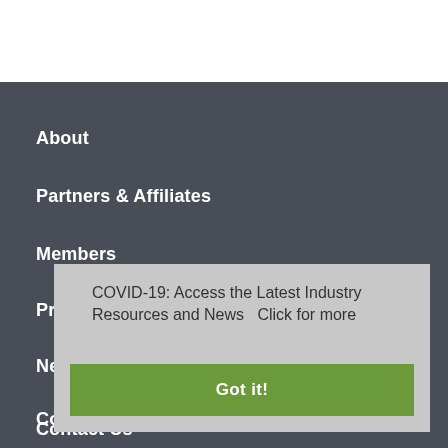About
Partners & Affiliates
Members
Professional Development
Newsroom
Consumers
COVID-19: Access the Latest Industry Resources and News  Click for more
Got it!
Contact Us